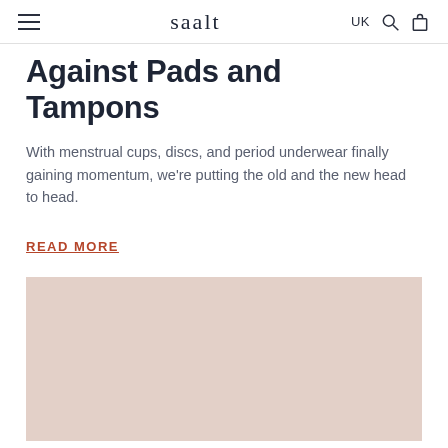saalt  UK
Against Pads and Tampons
With menstrual cups, discs, and period underwear finally gaining momentum, we're putting the old and the new head to head.
READ MORE
[Figure (photo): Light beige/blush colored image placeholder rectangle]